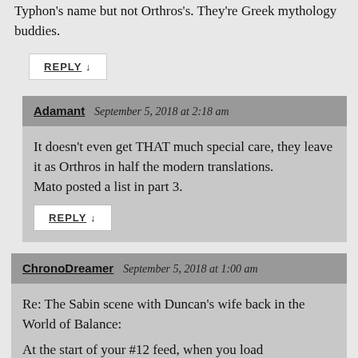Typhon's name but not Orthros's. They're Greek mythology buddies.
REPLY ↓
Adamant  September 5, 2018 at 2:18 am
It doesn't even get THAT much special care, they leave it as Orthros in half the modern translations.
Mato posted a list in part 3.
REPLY ↓
ChronoDreamer  September 5, 2018 at 1:00 am
Re: The Sabin scene with Duncan's wife back in the World of Balance:
At the start of your #12 feed, when you load